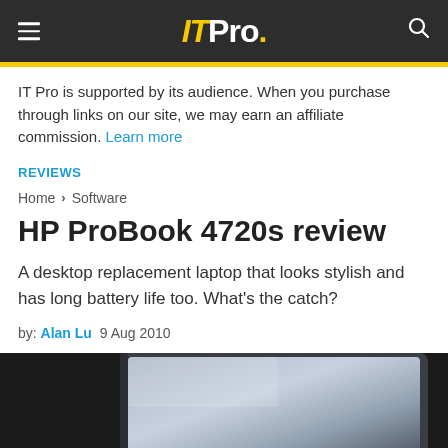IT Pro.
IT Pro is supported by its audience. When you purchase through links on our site, we may earn an affiliate commission. Learn more
REVIEWS
Home > Software
HP ProBook 4720s review
A desktop replacement laptop that looks stylish and has long battery life too. What's the catch?
by: Alan Lu  9 Aug 2010
[Figure (photo): Partial view of the HP ProBook 4720s laptop screen, showing a silver/grey lid from above against a dark background]